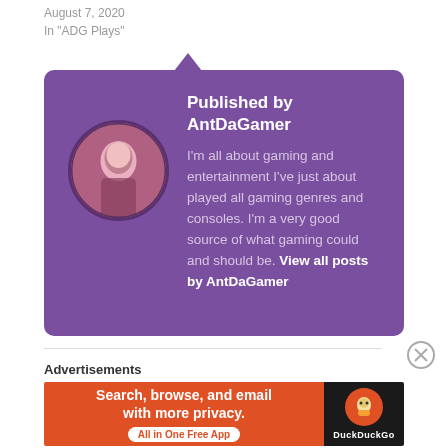August 7, 2020
In "ADG Plays"
[Figure (infographic): Purple author bio card with avatar image, title 'Published by AntDaGamer' and description text about gaming, with a 'View all posts by AntDaGamer' link]
Advertisements
[Figure (infographic): DuckDuckGo advertisement banner: 'Search, browse, and email with more privacy. All in One Free App' on orange background with DuckDuckGo logo on black background]